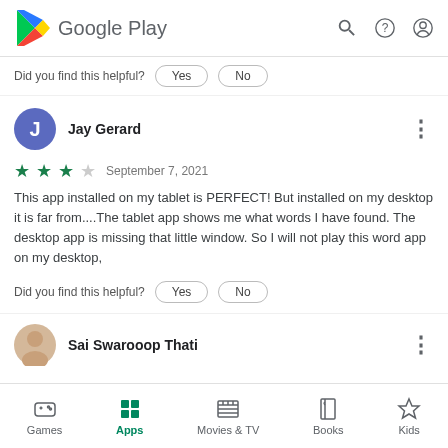Google Play
Did you find this helpful?  Yes  No
Jay Gerard
★★★☆  September 7, 2021
This app installed on my tablet is PERFECT! But installed on my desktop it is far from....The tablet app shows me what words I have found. The desktop app is missing that little window. So I will not play this word app on my desktop,
Did you find this helpful?  Yes  No
Sai Swarooop Thati
Games  Apps  Movies & TV  Books  Kids